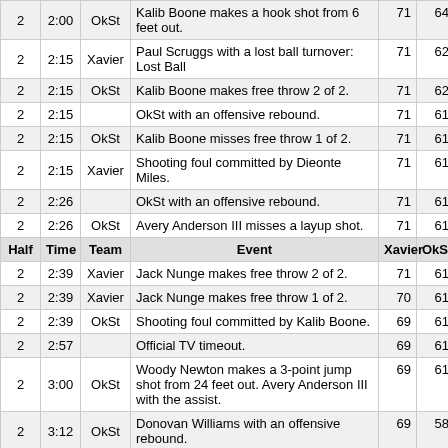| Half | Time | Team | Event | Xavier | OkSt |
| --- | --- | --- | --- | --- | --- |
| 2 | 2:00 | OkSt | Kalib Boone makes a hook shot from 6 feet out. | 71 | 64 |
| 2 | 2:15 | Xavier | Paul Scruggs with a lost ball turnover: Lost Ball | 71 | 62 |
| 2 | 2:15 | OkSt | Kalib Boone makes free throw 2 of 2. | 71 | 62 |
| 2 | 2:15 |  | OkSt with an offensive rebound. | 71 | 61 |
| 2 | 2:15 | OkSt | Kalib Boone misses free throw 1 of 2. | 71 | 61 |
| 2 | 2:15 | Xavier | Shooting foul committed by Dieonte Miles. | 71 | 61 |
| 2 | 2:26 |  | OkSt with an offensive rebound. | 71 | 61 |
| 2 | 2:26 | OkSt | Avery Anderson III misses a layup shot. | 71 | 61 |
| Half | Time | Team | Event | Xavier | OkSt |
| 2 | 2:39 | Xavier | Jack Nunge makes free throw 2 of 2. | 71 | 61 |
| 2 | 2:39 | Xavier | Jack Nunge makes free throw 1 of 2. | 70 | 61 |
| 2 | 2:39 | OkSt | Shooting foul committed by Kalib Boone. | 69 | 61 |
| 2 | 2:57 |  | Official TV timeout. | 69 | 61 |
| 2 | 3:00 | OkSt | Woody Newton makes a 3-point jump shot from 24 feet out. Avery Anderson III with the assist. | 69 | 61 |
| 2 | 3:12 | OkSt | Donovan Williams with an offensive rebound. | 69 | 58 |
| 2 | 3:12 | OkSt | Woody Newton misses a 3-point jump shot | 69 | 58 |